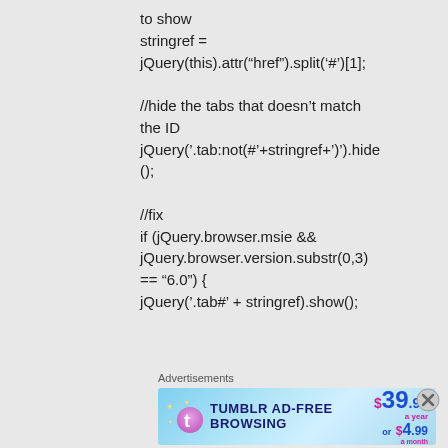to show
stringref =
jQuery(this).attr(“href”).split(‘#’)[1];
//hide the tabs that doesn’t match the ID
jQuery(’.tab:not(#’+stringref+’)’).hide();
//fix
if (jQuery.browser.msie && jQuery.browser.version.substr(0,3) == “6.0”) {
jQuery(’.tab#’ + stringref).show();
Advertisements
[Figure (infographic): Tumblr Ad-Free Browsing advertisement banner showing $39.99 a year or $4.99 a month price]